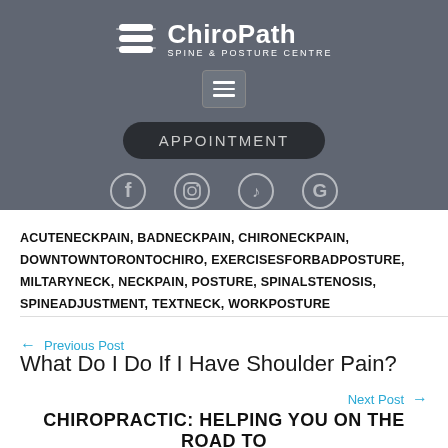[Figure (logo): ChiroPath Spine & Posture Centre logo with icon, hamburger menu button, APPOINTMENT button, and social media icons (Facebook, Instagram, TikTok, Google) on a grey background]
ACUTENECKPAIN, BADNECKPAIN, CHIRONECKPAIN, DOWNTOWNTORONTOCHIRO, EXERCISESFORBADPOSTURE, MILTARYNECK, NECKPAIN, POSTURE, SPINALSTENOSIS, SPINEADJUSTMENT, TEXTNECK, WORKPOSTURE
← Previous Post
What Do I Do If I Have Shoulder Pain?
Next Post →
CHIROPRACTIC: HELPING YOU ON THE ROAD TO